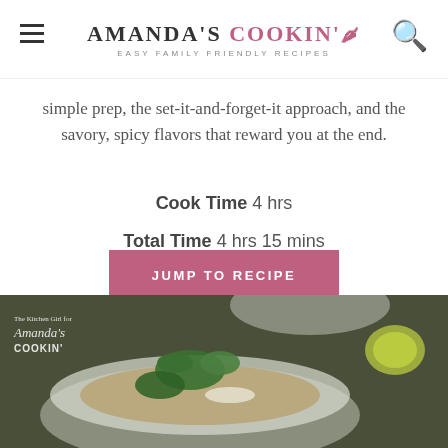AMANDA'S COOKIN' — EASY FAMILY FRIENDLY RECIPES
simple prep, the set-it-and-forget-it approach, and the savory, spicy flavors that reward you at the end.
Cook Time  4 hrs
Total Time  4 hrs 15 mins
JUMP TO RECIPE
[Figure (photo): Bowl of soup garnished with fresh cilantro and avocado, with lime wedges on the side, photographed from above on a dark background. Watermark reads 'The Kitchen Girl for Amanda's COOKIN'' in the top left corner.]